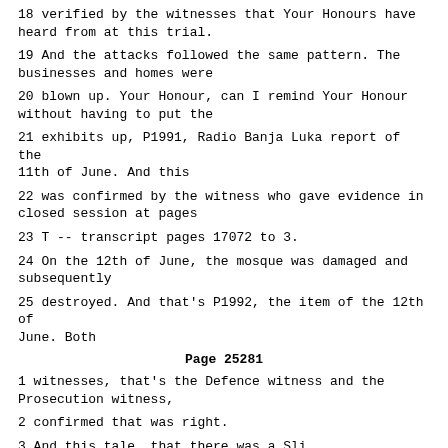18 verified by the witnesses that Your Honours have heard from at this trial.
19 And the attacks followed the same pattern. The businesses and homes were
20 blown up. Your Honour, can I remind Your Honour without having to put the
21 exhibits up, P1991, Radio Banja Luka report of the 11th of June. And this
22 was confirmed by the witness who gave evidence in closed session at pages
23 T -- transcript pages 17072 to 3.
24 On the 12th of June, the mosque was damaged and subsequently
25 destroyed. And that's P1992, the item of the 12th of June. Both
Page 25281
1 witnesses, that's the Defence witness and the Prosecution witness,
2 confirmed that was right.
3 And this tale, that there was a Serb...